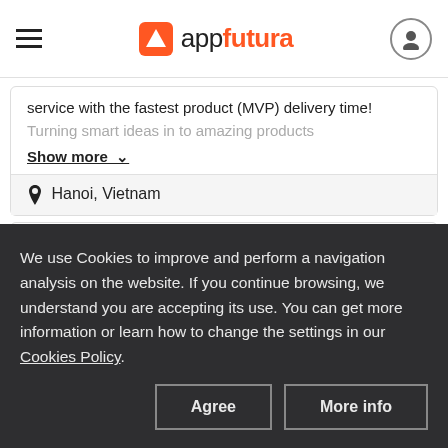appfutura
service with the fastest product (MVP) delivery time! Turning smart ideas in to amazing products
Show more
Hanoi, Vietnam
Netpower AS
We use Cookies to improve and perform a navigation analysis on the website. If you continue browsing, we understand you are accepting its use. You can get more information or learn how to change the settings in our Cookies Policy.
Agree | More info